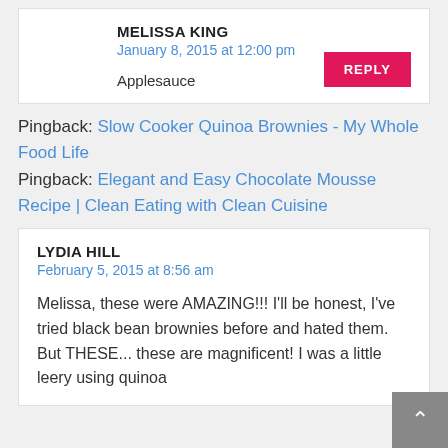MELISSA KING
January 8, 2015 at 12:00 pm
Applesauce
REPLY
Pingback: Slow Cooker Quinoa Brownies - My Whole Food Life
Pingback: Elegant and Easy Chocolate Mousse Recipe | Clean Eating with Clean Cuisine
LYDIA HILL
February 5, 2015 at 8:56 am
Melissa, these were AMAZING!!! I'll be honest, I've tried black bean brownies before and hated them. But THESE... these are magnificent! I was a little leery using quinoa